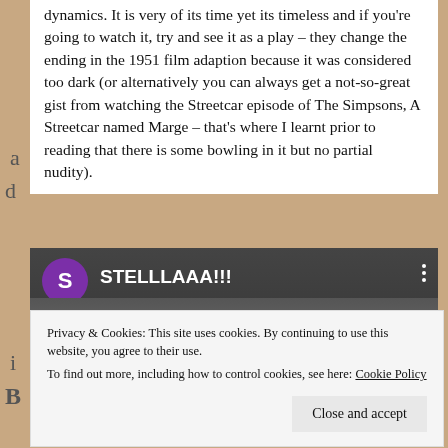dynamics. It is very of its time yet its timeless and if you're going to watch it, try and see it as a play – they change the ending in the 1951 film adaption because it was considered too dark (or alternatively you can always get a not-so-great gist from watching the Streetcar episode of The Simpsons, A Streetcar named Marge – that's where I learnt prior to reading that there is some bowling in it but no partial nudity).
[Figure (screenshot): Embedded video thumbnail showing a YouTube-style player with a purple channel avatar with letter S, title 'STELLLAAA!!!', three-dot menu, and a scene with people from what appears to be a TV show, with a red YouTube play button overlay.]
Privacy & Cookies: This site uses cookies. By continuing to use this website, you agree to their use.
To find out more, including how to control cookies, see here: Cookie Policy